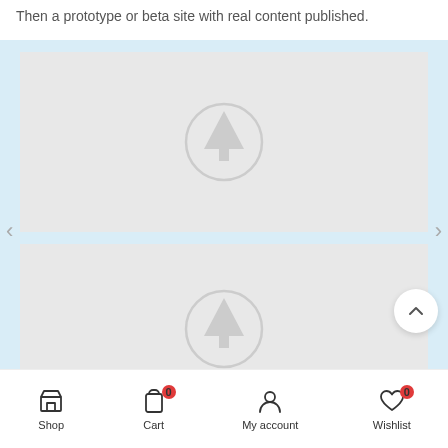Then a prototype or beta site with real content published.
[Figure (screenshot): Mobile app screenshot showing two product placeholder cards in a light blue carousel background, each with a gray placeholder image containing a tree/upload icon. Navigation arrows on left and right sides. A scroll-to-top button in bottom right.]
Shop | Cart (0) | My account | Wishlist (0)